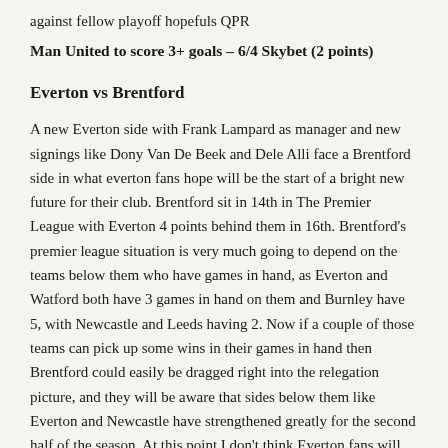against fellow playoff hopefuls QPR
Man United to score 3+ goals – 6/4 Skybet (2 points)
Everton vs Brentford
A new Everton side with Frank Lampard as manager and new signings like Dony Van De Beek and Dele Alli face a Brentford side in what everton fans hope will be the start of a bright new future for their club. Brentford sit in 14th in The Premier League with Everton 4 points behind them in 16th. Brentford's premier league situation is very much going to depend on the teams below them who have games in hand, as Everton and Watford both have 3 games in hand on them and Burnley have 5, with Newcastle and Leeds having 2. Now if a couple of those teams can pick up some wins in their games in hand then Brentford could easily be dragged right into the relegation picture, and they will be aware that sides below them like Everton and Newcastle have strengthened greatly for the second half of the season. At this point I don't think Everton fans will be too concerned about relegation, so many